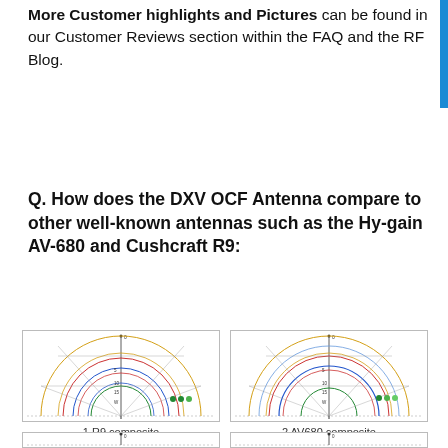More Customer highlights and Pictures can be found in our Customer Reviews section within the FAQ and the RF Blog.
Q. How does the DXV OCF Antenna compare to other well-known antennas such as the Hy-gain AV-680 and Cushcraft R9:
[Figure (engineering-diagram): Antenna radiation pattern polar plot labeled '1 R9 composite' showing multiple overlapping semicircular patterns in various colors (green, blue, red, yellow) representing composite radiation patterns of the R9 antenna.]
1 R9 composite
[Figure (engineering-diagram): Antenna radiation pattern polar plot labeled '2 AV680 composite' showing multiple overlapping semicircular patterns in various colors (green, blue, red, yellow) representing composite radiation patterns of the AV680 antenna.]
2 AV680 composite